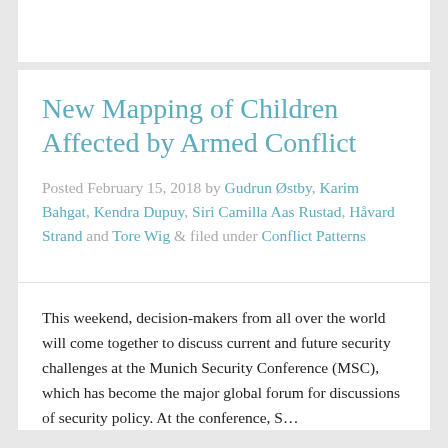New Mapping of Children Affected by Armed Conflict
Posted February 15, 2018 by Gudrun Østby, Karim Bahgat, Kendra Dupuy, Siri Camilla Aas Rustad, Håvard Strand and Tore Wig & filed under Conflict Patterns
This weekend, decision-makers from all over the world will come together to discuss current and future security challenges at the Munich Security Conference (MSC), which has become the major global forum for discussions of security policy. At the conference, S...